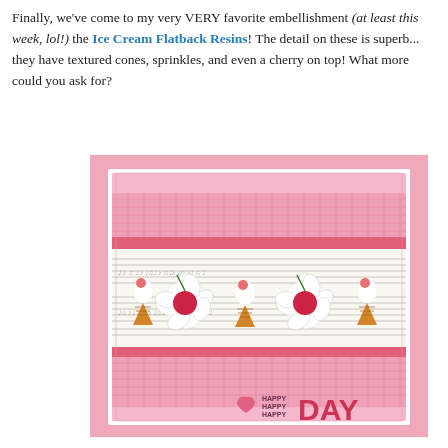Finally, we've come to my very VERY favorite embellishment (at least this week, lol!) the Ice Cream Flatback Resins! The detail on these is superb... they have textured cones, sprinkles, and even a cherry on top! What more could you ask for?
[Figure (photo): A handmade greeting card with a pink background, featuring ice cream cone resin embellishments and daisy flowers arranged in a row on sheet music paper, with pink gingham scalloped borders above and below. The card reads 'HAPPY HAPPY HAPPY DAY' with a pink heart in the lower right.]